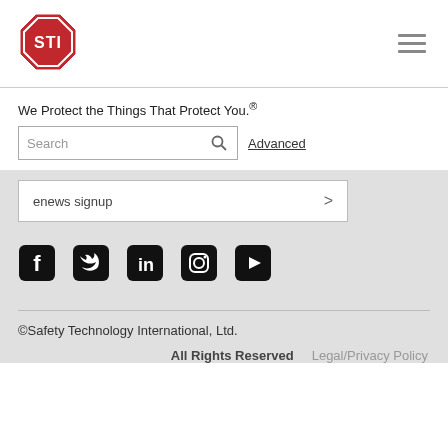[Figure (logo): STI logo - red octagon stop sign shape with white STI text]
We Protect the Things That Protect You.®
Search  Advanced
enews signup >
[Figure (other): Social media icons row: Facebook, Twitter, LinkedIn, Instagram, YouTube]
©Safety Technology International, Ltd.
All Rights Reserved   Legal/Privacy Policy